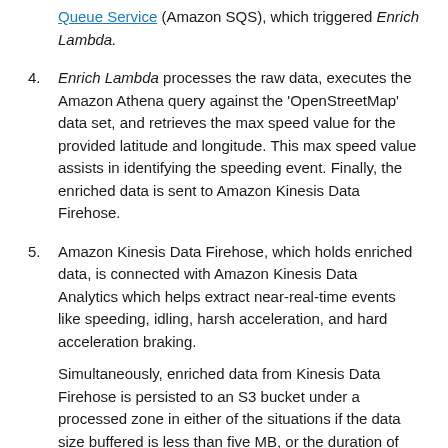Queue Service (Amazon SQS), which triggered Enrich Lambda.
4. Enrich Lambda processes the raw data, executes the Amazon Athena query against the 'OpenStreetMap' data set, and retrieves the max speed value for the provided latitude and longitude. This max speed value assists in identifying the speeding event. Finally, the enriched data is sent to Amazon Kinesis Data Firehose.
5. Amazon Kinesis Data Firehose, which holds enriched data, is connected with Amazon Kinesis Data Analytics which helps extract near-real-time events like speeding, idling, harsh acceleration, and hard acceleration braking. Simultaneously, enriched data from Kinesis Data Firehose is persisted to an S3 bucket under a processed zone in either of the situations if the data size buffered is less than five MB, or the duration of data in the buffer is less than 300 seconds.